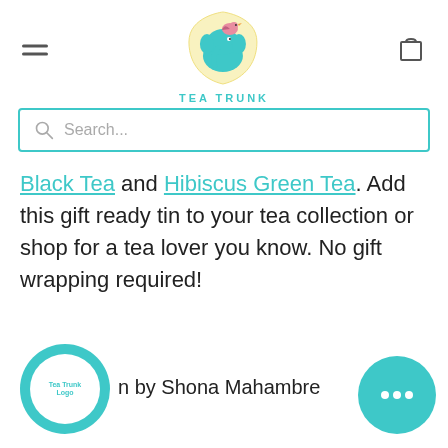[Figure (logo): Tea Trunk logo: teal elephant with pink bird on head inside a light yellow shield shape, with 'TEA TRUNK' text below in teal]
[Figure (screenshot): Search bar with teal border and search icon, placeholder text 'Search...']
Black Tea and Hibiscus Green Tea. Add this gift ready tin to your tea collection or shop for a tea lover you know. No gift wrapping required!
[Figure (logo): Tea Trunk circular logo on teal circle button at bottom left, with text 'n by Shona Mahambre' next to it]
[Figure (other): Teal circular chat button with three white dots at bottom right]